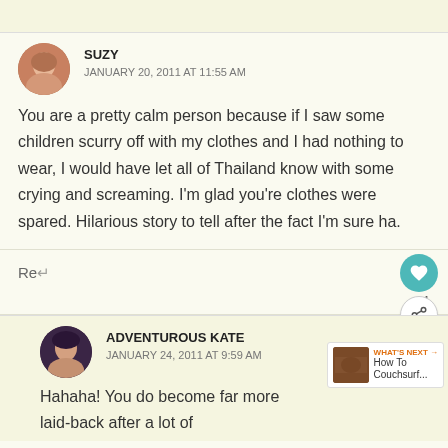SUZY
JANUARY 20, 2011 AT 11:55 AM
You are a pretty calm person because if I saw some children scurry off with my clothes and I had nothing to wear, I would have let all of Thailand know with some crying and screaming. I’m glad you’re clothes were spared. Hilarious story to tell after the fact I’m sure ha.
ADVENTUROUS KATE
JANUARY 24, 2011 AT 9:59 AM
Hahaha! You do become far more laid-back after a lot of